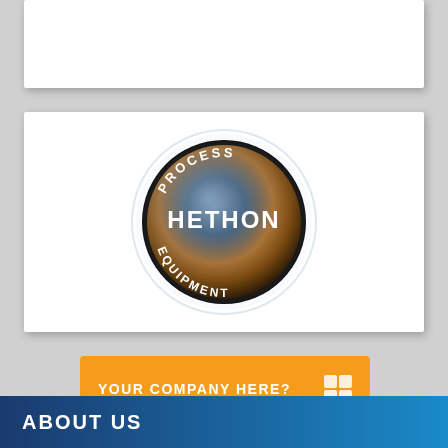[Figure (other): White card placeholder at top of page]
[Figure (logo): Hethon Process Equipment circular logo with dark metallic gradient background, white text reading PROCESS at top, HETHON in center bold, EQUIPMENT at bottom]
YOUR COMPANY HERE?
ABOUT US